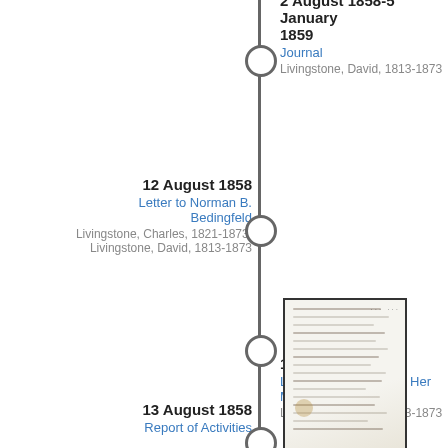2 August 1858-5 January 1859
Journal
Livingstone, David, 1813-1873
12 August 1858
Letter to Norman B. Bedingfeld
Livingstone, Charles, 1821-1873; Livingstone, David, 1813-1873
[Figure (photo): Handwritten document page, appears to be a historical manuscript with handwritten text lines on aged paper]
13 August 1858
Letter to [Commander Her Majesty's Ship]
Livingstone, David, 1813-1873
13 August 1858
Report of Activities